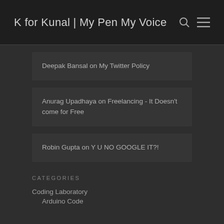K for Kunal | My Pen My Voice
Deepak Bansal on My Twitter Policy
Anurag Upadhaya on Freelancing - It Doesn't come for Free
Robin Gupta on Y U NO GOOGLE IT?!
CATEGORIES
Coding Laboratory
Arduino Code